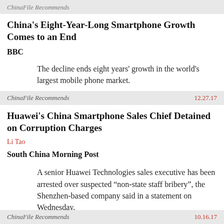ChinaFile Recommends
China's Eight-Year-Long Smartphone Growth Comes to an End
BBC
The decline ends eight years' growth in the world's largest mobile phone market.
ChinaFile Recommends  12.27.17
Huawei's China Smartphone Sales Chief Detained on Corruption Charges
Li Tao
South China Morning Post
A senior Huawei Technologies sales executive has been arrested over suspected “non-state staff bribery”, the Shenzhen-based company said in a statement on Wednesday.
ChinaFile Recommends  10.16.17